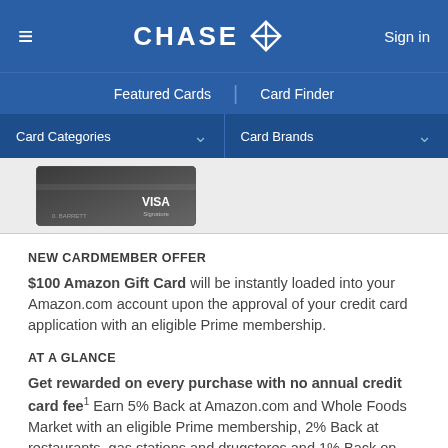CHASE — Sign in
Featured Cards | Card Finder
Card Categories ▾  Card Brands ▾
[Figure (photo): Chase Amazon Visa Signature credit card, dark metallic finish]
NEW CARDMEMBER OFFER
$100 Amazon Gift Card will be instantly loaded into your Amazon.com account upon the approval of your credit card application with an eligible Prime membership.
AT A GLANCE
Get rewarded on every purchase with no annual credit card fee¹ Earn 5% Back at Amazon.com and Whole Foods Market with an eligible Prime membership, 2% Back at restaurants, gas stations and drugstores and 1% Back on